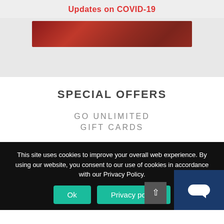Updates on COVID-19
[Figure (photo): Red meat/food hero image banner]
SPECIAL OFFERS
GO UNLIMITED
GIFT CARDS
This site uses cookies to improve your overall web experience. By using our website, you consent to our use of cookies in accordance with our Privacy Policy.
Ok   Privacy policy